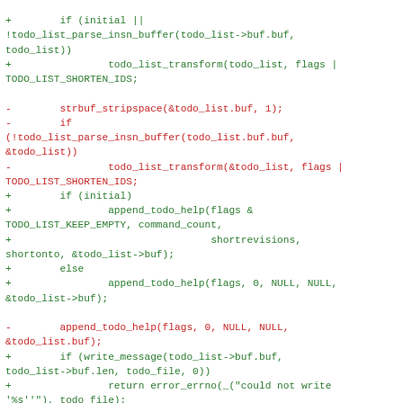Code diff showing changes to todo list buffer handling in a git rebase sequence editor